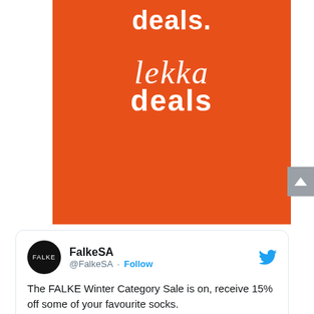[Figure (logo): Orange rectangular banner with white bold text 'deals.' at top and a stylized 'lekka deals' logo below in white on orange background]
@FalkeSA · Follow
The FALKE Winter Category Sale is on, receive 15% off some of your favourite socks.